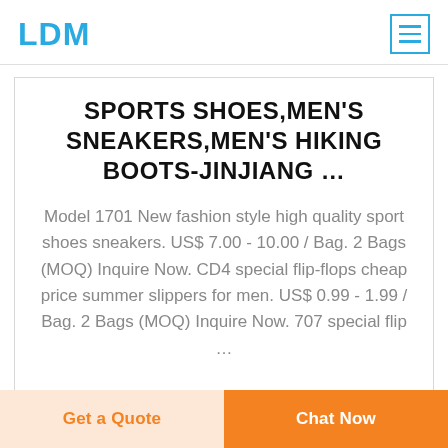LDM
SPORTS SHOES,MEN'S SNEAKERS,MEN'S HIKING BOOTS-JINJIANG ...
Model 1701 New fashion style high quality sport shoes sneakers. US$ 7.00 - 10.00 / Bag. 2 Bags (MOQ) Inquire Now. CD4 special flip-flops cheap price summer slippers for men. US$ 0.99 - 1.99 / Bag. 2 Bags (MOQ) Inquire Now. 707 special flip …
READ MORE →
Get a Quote
Chat Now